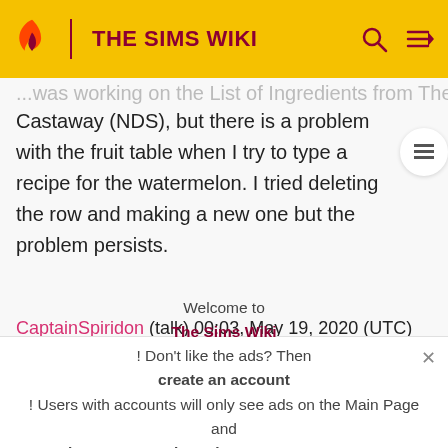THE SIMS WIKI
...was working on the List of Ingredients from The Sims 2 Castaway (NDS), but there is a problem with the fruit table when I try to type a recipe for the watermelon. I tried deleting the row and making a new one but the problem persists.
CaptainSpiridon (talk) 00:03, May 19, 2020 (UTC)
Book of Spells Quest did not appear after Sorcerer's
Welcome to The Sims Wiki! Don't like the ads? Then create an account! Users with accounts will only see ads on the Main Page and have more options than anonymous users.